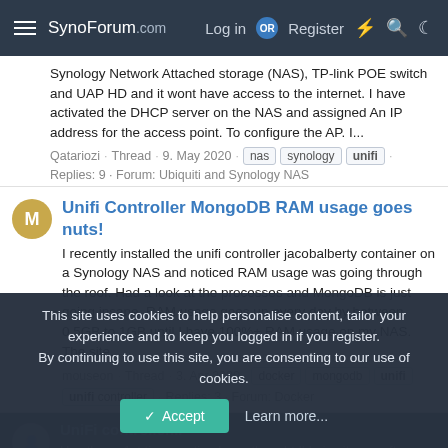SynoForum.com — Log in OR Register
Synology Network Attached storage (NAS), TP-link POE switch and UAP HD and it wont have access to the internet. I have activated the DHCP server on the NAS and assigned An IP address for the access point. To configure the AP. I...
Qatariozi · Thread · 9. May 2020 · nas · synology · unifi · Replies: 9 · Forum: Ubiquiti and Synology NAS
Unifi Controller MongoDB RAM usage goes nuts!
I recently installed the unifi controller jacobalberty container on a Synology NAS and noticed RAM usage was going through the roof. Had a look at the processes and MongoDB is just going insane. RAM usage goes up every day by between 0.5GB to 1GB until I have 100%+ RAM usage on my NAS. The site...
mouseon · Thread · 3. Apr 2020 · docker · mongodb · unifi · unifi controller · Replies: 3 · Forum: Docker
UniFi controller... Hey there, 1st time posting here, thought I'd give it a go after being encouraged on the Unifi Forum. I've been running
This site uses cookies to help personalise content, tailor your experience and to keep you logged in if you register.
By continuing to use this site, you are consenting to our use of cookies.
Accept   Learn more...